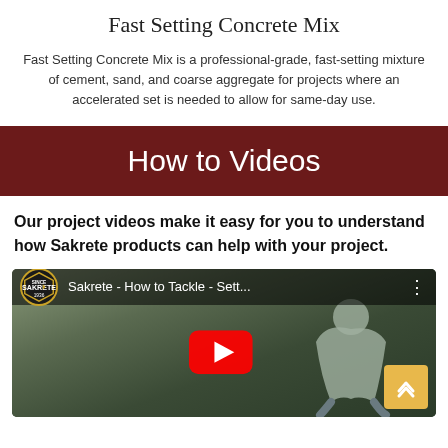Fast Setting Concrete Mix
Fast Setting Concrete Mix is a professional-grade, fast-setting mixture of cement, sand, and coarse aggregate for projects where an accelerated set is needed to allow for same-day use.
How to Videos
Our project videos make it easy for you to understand how Sakrete products can help with your project.
[Figure (screenshot): YouTube video thumbnail showing a Sakrete how-to video titled 'Sakrete - How to Tackle - Sett...' with a person bending over doing concrete work, featuring the YouTube play button overlay and Sakrete logo.]